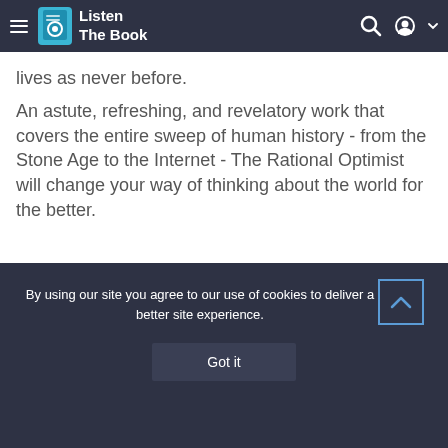Listen The Book
lives as never before. An astute, refreshing, and revelatory work that covers the entire sweep of human history - from the Stone Age to the Internet - The Rational Optimist will change your way of thinking about the world for the better.
By using our site you agree to our use of cookies to deliver a better site experience.
Got it